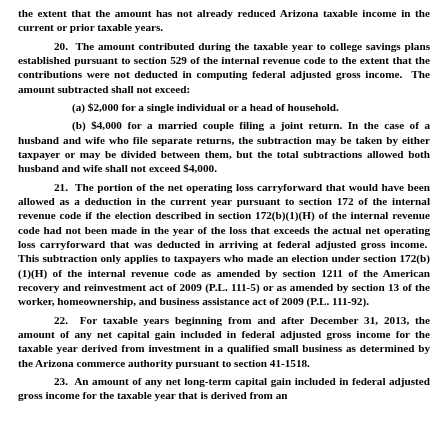the extent that the amount has not already reduced Arizona taxable income in the current or prior taxable years.
20. The amount contributed during the taxable year to college savings plans established pursuant to section 529 of the internal revenue code to the extent that the contributions were not deducted in computing federal adjusted gross income. The amount subtracted shall not exceed:
(a) $2,000 for a single individual or a head of household.
(b) $4,000 for a married couple filing a joint return. In the case of a husband and wife who file separate returns, the subtraction may be taken by either taxpayer or may be divided between them, but the total subtractions allowed both husband and wife shall not exceed $4,000.
21. The portion of the net operating loss carryforward that would have been allowed as a deduction in the current year pursuant to section 172 of the internal revenue code if the election described in section 172(b)(1)(H) of the internal revenue code had not been made in the year of the loss that exceeds the actual net operating loss carryforward that was deducted in arriving at federal adjusted gross income. This subtraction only applies to taxpayers who made an election under section 172(b)(1)(H) of the internal revenue code as amended by section 1211 of the American recovery and reinvestment act of 2009 (P.L. 111-5) or as amended by section 13 of the worker, homeownership, and business assistance act of 2009 (P.L. 111-92).
22. For taxable years beginning from and after December 31, 2013, the amount of any net capital gain included in federal adjusted gross income for the taxable year derived from investment in a qualified small business as determined by the Arizona commerce authority pursuant to section 41-1518.
23. An amount of any net long-term capital gain included in federal adjusted gross income for the taxable year that is derived from an